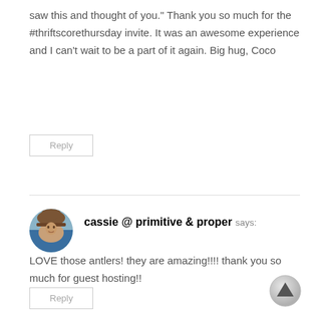saw this and thought of you." Thank you so much for the #thriftscorethursday invite. It was an awesome experience and I can't wait to be a part of it again. Big hug, Coco
Reply
cassie @ primitive & proper says:
[Figure (photo): Circular avatar photo of a woman wearing a wide-brimmed hat, with blue top visible]
LOVE those antlers! they are amazing!!!! thank you so much for guest hosting!!
Reply